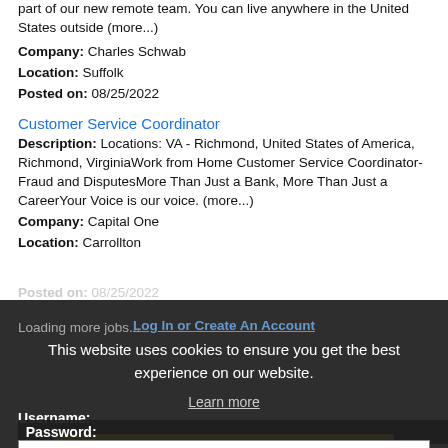part of our new remote team. You can live anywhere in the United States outside (more...)
Company: Charles Schwab
Location: Suffolk
Posted on: 08/25/2022
Customer Service Coordinator
Description: Locations: VA - Richmond, United States of America, Richmond, VirginiaWork from Home Customer Service Coordinator- Fraud and DisputesMore Than Just a Bank, More Than Just a CareerYour Voice is our voice. (more...)
Company: Capital One
Location: Carrollton
Posted on: 08/25/2022
Loading more jobs...
Log In or Create An Account
This website uses cookies to ensure you get the best experience on our website.
Learn more
Username:
Got it!
Password: